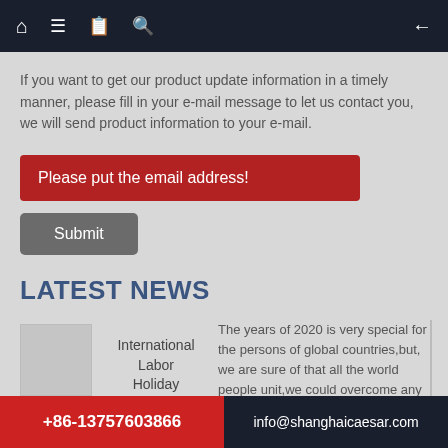Navigation bar with home, menu, book, search icons and back arrow
If you want to get our product update information in a timely manner, please fill in your e-mail message to let us contact you, we will send product information to your e-mail.
Please put the email address!
Submit
LATEST NEWS
International Labor Holiday
The years of 2020 is very special for the persons of global countries,but, we are sure of that all the world people unit,we could overcome any difficulties we are facing.Yesterday, it is the labor holiday, Here
+86-13757603866 | info@shanghaicaesar.com